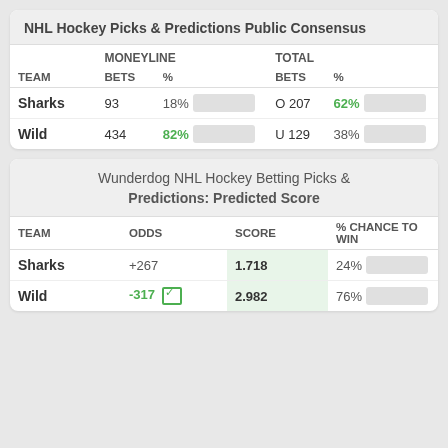NHL Hockey Picks & Predictions Public Consensus
| TEAM | BETS | % | BETS | % |
| --- | --- | --- | --- | --- |
| Sharks | 93 | 18% | O 207 | 62% |
| Wild | 434 | 82% | U 129 | 38% |
Wunderdog NHL Hockey Betting Picks & Predictions: Predicted Score
| TEAM | ODDS | SCORE | % CHANCE TO WIN |
| --- | --- | --- | --- |
| Sharks | +267 | 1.718 | 24% |
| Wild | -317 | 2.982 | 76% |